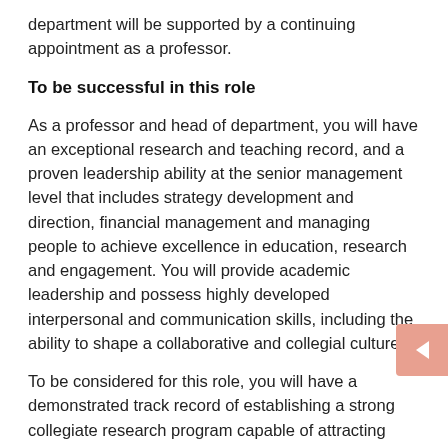department will be supported by a continuing appointment as a professor.
To be successful in this role
As a professor and head of department, you will have an exceptional research and teaching record, and a proven leadership ability at the senior management level that includes strategy development and direction, financial management and managing people to achieve excellence in education, research and engagement. You will provide academic leadership and possess highly developed interpersonal and communication skills, including the ability to shape a collaborative and collegial culture.
To be considered for this role, you will have a demonstrated track record of establishing a strong collegiate research program capable of attracting substantial external funding. You will have demonstrated international leadership in the discipline of civil engineering, with a reputation for being an expert in the field and for conducting high-level research that has a